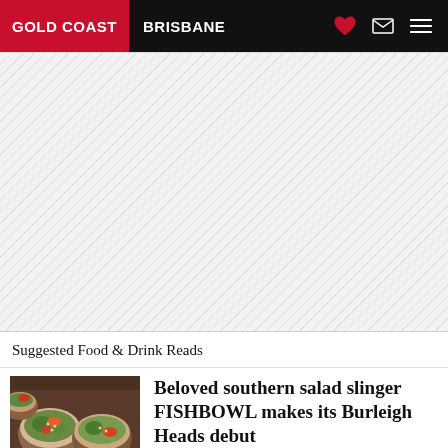GOLD COAST  BRISBANE
[Figure (other): Advertisement placeholder area with diagonal hatching pattern]
Suggested Food & Drink Reads
[Figure (photo): Photo of colorful food bowls, salads with various toppings]
Beloved southern salad slinger FISHBOWL makes its Burleigh Heads debut